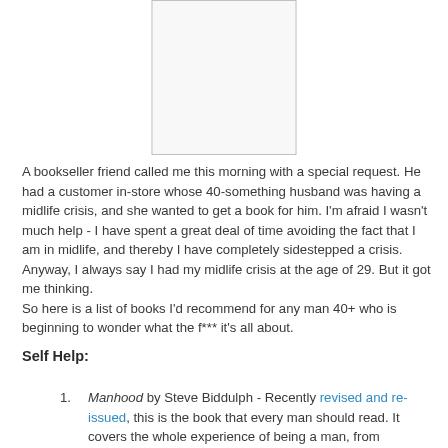[Figure (other): Book cover image placeholder — a white rectangle with a thin gray border, centered at the top of the page]
A bookseller friend called me this morning with a special request. He had a customer in-store whose 40-something husband was having a midlife crisis, and she wanted to get a book for him. I'm afraid I wasn't much help - I have spent a great deal of time avoiding the fact that I am in midlife, and thereby I have completely sidestepped a crisis. Anyway, I always say I had my midlife crisis at the age of 29. But it got me thinking.
So here is a list of books I'd recommend for any man 40+ who is beginning to wonder what the f*** it's all about.
Self Help:
Manhood by Steve Biddulph - Recently revised and re-issued, this is the book that every man should read. It covers the whole experience of being a man, from childhood to old age. Biddulph at his best it covers...